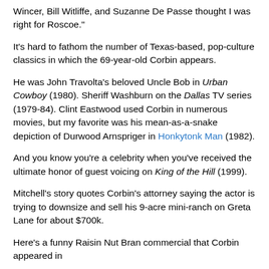Wincer, Bill Witliffe, and Suzanne De Passe thought I was right for Roscoe."
It's hard to fathom the number of Texas-based, pop-culture classics in which the 69-year-old Corbin appears.
He was John Travolta's beloved Uncle Bob in Urban Cowboy (1980). Sheriff Washburn on the Dallas TV series (1979-84). Clint Eastwood used Corbin in numerous movies, but my favorite was his mean-as-a-snake depiction of Durwood Arnspriger in Honkytonk Man (1982).
And you know you're a celebrity when you've received the ultimate honor of guest voicing on King of the Hill (1999).
Mitchell's story quotes Corbin's attorney saying the actor is trying to downsize and sell his 9-acre mini-ranch on Greta Lane for about $700k.
Here's a funny Raisin Nut Bran commercial that Corbin appeared in